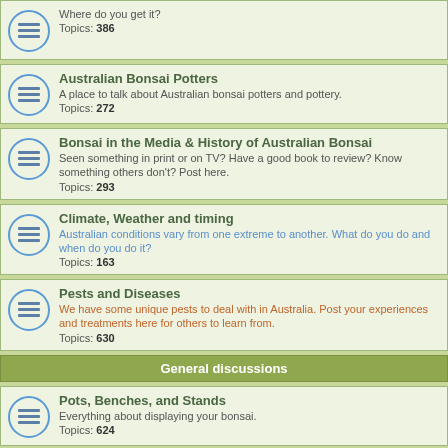Where do you get it? Topics: 386
Australian Bonsai Potters - A place to talk about Australian bonsai potters and pottery. Topics: 272
Bonsai in the Media & History of Australian Bonsai - Seen something in print or on TV? Have a good book to review? Know something others don't? Post here. Topics: 293
Climate, Weather and timing - Australian conditions vary from one extreme to another. What do you do and when do you do it? Topics: 163
Pests and Diseases - We have some unique pests to deal with in Australia. Post your experiences and treatments here for others to learn from. Topics: 630
General discussions
Pots, Benches, and Stands - Everything about displaying your bonsai. Topics: 624
Accent Plants and Moss - Share ideas and photo's of accent plants and moss. Topics: 115
Suiseki and Viewing Stones - For lovers of rocks.